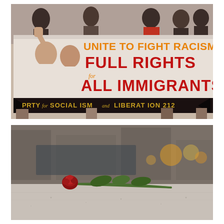[Figure (photo): Protest march photo showing people holding a large white banner with illustrated fists and women figures. Text on banner reads: 'UNITE TO FIGHT RACISM', 'FULL RIGHTS for ALL IMMIGRANTS', 'PRTY for SOCIALISM and LIBERATION 212'. People in background holding the banner, one person wearing red shirt.]
[Figure (photo): Close-up photo of a red rose with green stem and leaves resting on a concrete ledge or wall, with a blurred urban background showing buildings and warm lights.]